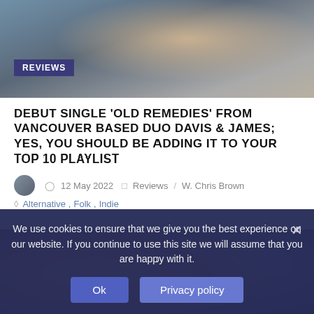[Figure (photo): Blurred background photo with blue/grey tones, person or hands partially visible]
REVIEWS
DEBUT SINGLE 'OLD REMEDIES' FROM VANCOUVER BASED DUO DAVIS & JAMES; YES, YOU SHOULD BE ADDING IT TO YOUR TOP 10 PLAYLIST
12 May 2022   Reviews   W. Chris Brown   Alternative , Folk , Indie
[Figure (photo): Dark photo of a person with braided hair, dark clothing, blurred background with window light]
We use cookies to ensure that we give you the best experience on our website. If you continue to use this site we will assume that you are happy with it.